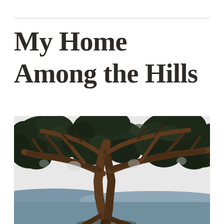My Home Among the Hills
[Figure (illustration): A detailed illustration or stylized photograph of a large tree with dark twisted branches and dense dark foliage. The background shows a pale sky and blue-grey hills or water at the bottom. The image appears to be a book cover illustration showing a gnarled pine or oak tree viewed from below, with branches spreading across the upper portion.]